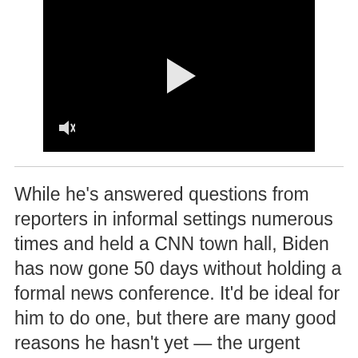[Figure (screenshot): A black video player with a white play button triangle in the center and a muted/sound-off icon in the lower left corner.]
While he's answered questions from reporters in informal settings numerous times and held a CNN town hall, Biden has now gone 50 days without holding a formal news conference. It'd be ideal for him to do one, but there are many good reasons he hasn't yet — the urgent public health and economic crises he inherited, a pandemic that complicates logistics, and the legacy former President Donald Trump left him of presidential news conferences